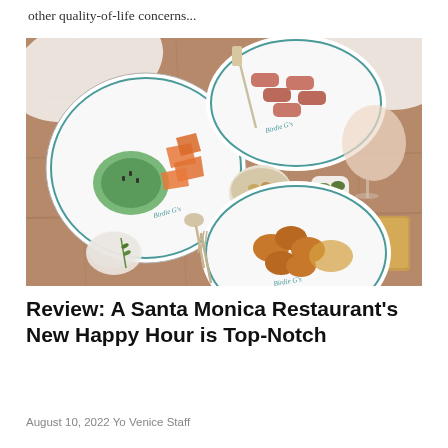other quality-of-life concerns...
[Figure (photo): Overhead view of a restaurant table with multiple Birdie G's branded white plates containing various dishes including green dip with orange chips, bacon-wrapped items, roasted potatoes, a bowl of nuts, olives in a small pitcher, and glasses of rosé wine and beer.]
Review: A Santa Monica Restaurant's New Happy Hour is Top-Notch
August 10, 2022 Yo Venice Staff